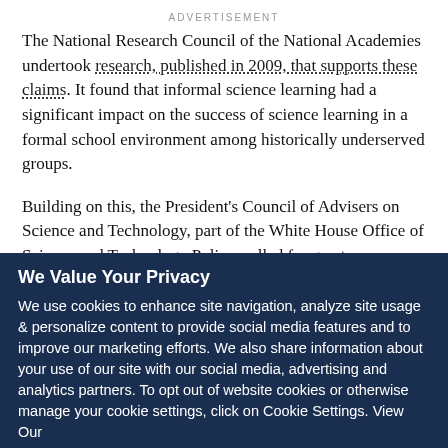ADVERTISEMENT
The National Research Council of the National Academies undertook research, published in 2009, that supports these claims. It found that informal science learning had a significant impact on the success of science learning in a formal school environment among historically underserved groups.
Building on this, the President’s Council of Advisers on Science and Technology, part of the White House Office of Science and Technology Policy, called for greater integration of informal and formal science education. The council’s 2010
We Value Your Privacy
We use cookies to enhance site navigation, analyze site usage & personalize content to provide social media features and to improve our marketing efforts. We also share information about your use of our site with our social media, advertising and analytics partners. To opt out of website cookies or otherwise manage your cookie settings, click on Cookie Settings. View Our